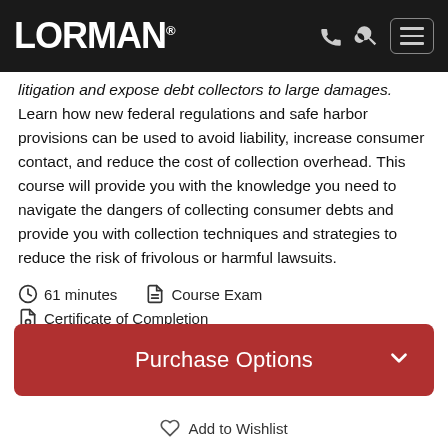LORMAN
litigation and expose debt collectors to large damages. Learn how new federal regulations and safe harbor provisions can be used to avoid liability, increase consumer contact, and reduce the cost of collection overhead. This course will provide you with the knowledge you need to navigate the dangers of collecting consumer debts and provide you with collection techniques and strategies to reduce the risk of frivolous or harmful lawsuits.
61 minutes   Course Exam   Certificate of Completion
Purchase Options
Add to Wishlist